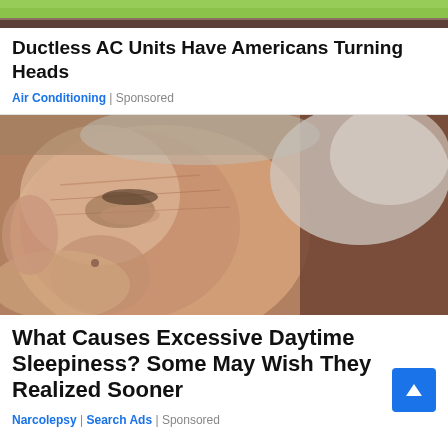[Figure (photo): Top strip showing partial outdoor scene with green foliage and grass]
Ductless AC Units Have Americans Turning Heads
Air Conditioning | Sponsored
[Figure (photo): Close-up photograph of an elderly person with eyes closed, appearing to be asleep or dozing, with white/grey hair, deeply wrinkled face]
What Causes Excessive Daytime Sleepiness? Some May Wish They Realized Sooner
Narcolepsy | Search Ads | Sponsored